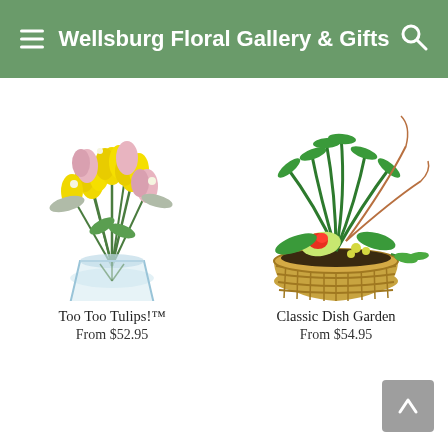Wellsburg Floral Gallery & Gifts
[Figure (photo): Yellow and pink tulips in a glass vase]
Too Too Tulips!™
From $52.95
[Figure (photo): Classic dish garden with tropical plants in a woven basket]
Classic Dish Garden
From $54.95